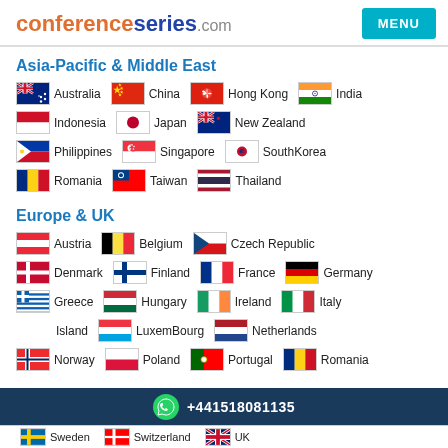conferenceseries.com | MENU
Asia-Pacific & Middle East
Australia, China, Hong Kong, India, Indonesia, Japan, New Zealand, Philippines, Singapore, SouthKorea, Romania, Taiwan, Thailand
Europe & UK
Austria, Belgium, Czech Republic, Denmark, Finland, France, Germany, Greece, Hungary, Ireland, Italy, Island, LuxemBourg, Netherlands, Norway, Poland, Portugal, Romania
+441518081135
Sweden, Switzerland, UK